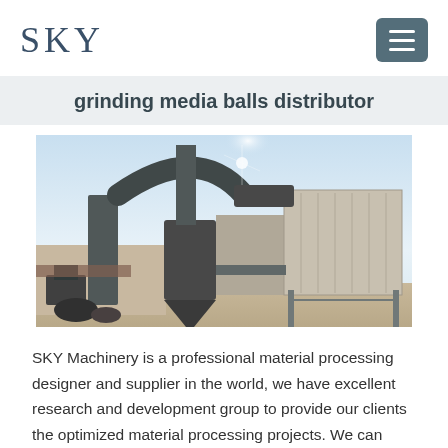SKY
grinding media balls distributor
[Figure (photo): Industrial grinding/processing machinery installation outdoors — large metal ducts, cyclone separator, bag filter housing on steel frame structure, sunny day.]
SKY Machinery is a professional material processing designer and supplier in the world, we have excellent research and development group to provide our clients the optimized material processing projects. We can provide our customers the all-sided produce project such as aggregate production line, mineral ore...